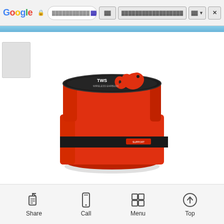[Figure (screenshot): Google mobile browser chrome bar with Google logo, lock icon, address bar with Thai text and dropdown, navigation buttons, and close button]
[Figure (photo): Red cylindrical product box with black lid featuring a red stylized figure/logo and white text reading TWS. The box has a black band around the middle with a small label. The product sits on a white background.]
[Figure (screenshot): Mobile browser bottom toolbar with four buttons: Share, Call, Menu, Top — each with an icon above the label text]